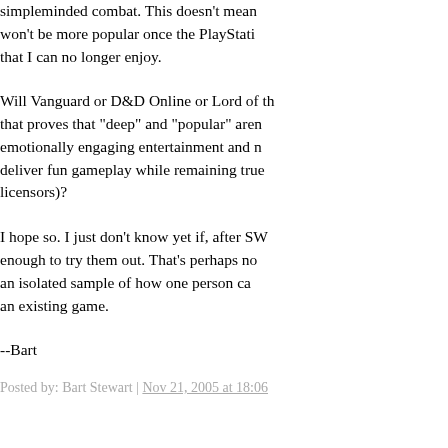simpleminded combat. This doesn't mean won't be more popular once the PlayStation that I can no longer enjoy.
Will Vanguard or D&D Online or Lord of the that proves that "deep" and "popular" aren emotionally engaging entertainment and deliver fun gameplay while remaining true licensors)?
I hope so. I just don't know yet if, after SW enough to try them out. That's perhaps no an isolated sample of how one person ca an existing game.
--Bart
Posted by: Bart Stewart | Nov 21, 2005 at 18:06
12.  I don't think it matters whether the NO improve the game dramatically and still ca community because the unavoidable fact alpha testers.
Players spent several years perfecting te deleted from the game with no compensa change the severe grind to full temp Jedi but needless to say it was not well receive to achieve their template.